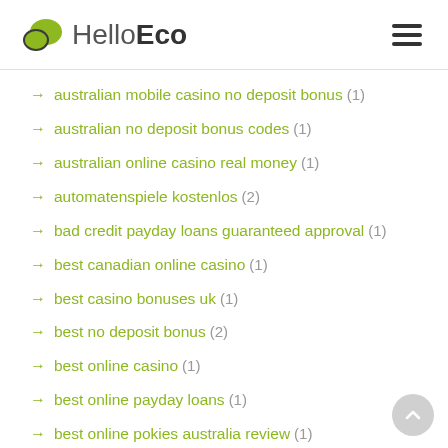HelloEco
→ australian mobile casino no deposit bonus (1)
→ australian no deposit bonus codes (1)
→ australian online casino real money (1)
→ automatenspiele kostenlos (2)
→ bad credit payday loans guaranteed approval (1)
→ best canadian online casino (1)
→ best casino bonuses uk (1)
→ best no deposit bonus (2)
→ best online casino (1)
→ best online payday loans (1)
→ best online pokies australia review (1)